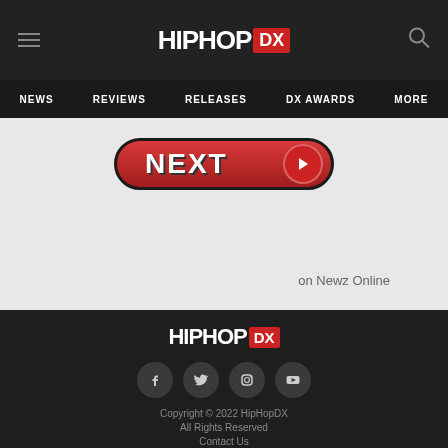HipHopDX — Navigation header with hamburger menu, logo, and search icon
NEWS  REVIEWS  RELEASES  DX AWARDS  MORE
[Figure (screenshot): Red NEXT button with arrow on grey background]
on Newz Online
HipHopDX logo, social icons (Facebook, Twitter, Instagram, YouTube), Copyright © 2022 HipHopDX, All Rights Reserved, Contact Us